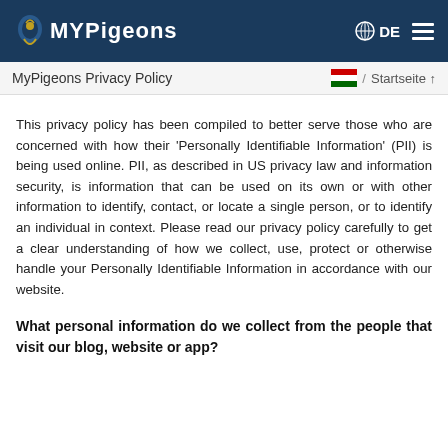MyPigeons | DE
MyPigeons Privacy Policy
This privacy policy has been compiled to better serve those who are concerned with how their 'Personally Identifiable Information' (PII) is being used online. PII, as described in US privacy law and information security, is information that can be used on its own or with other information to identify, contact, or locate a single person, or to identify an individual in context. Please read our privacy policy carefully to get a clear understanding of how we collect, use, protect or otherwise handle your Personally Identifiable Information in accordance with our website.
What personal information do we collect from the people that visit our blog, website or app?